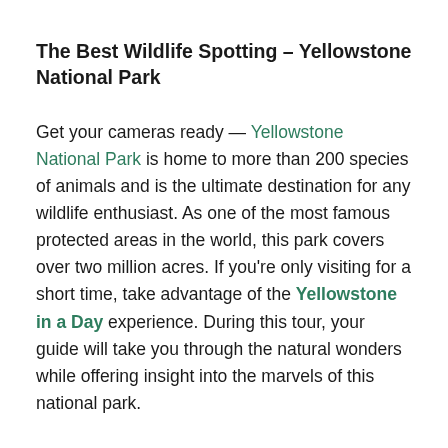The Best Wildlife Spotting – Yellowstone National Park
Get your cameras ready — Yellowstone National Park is home to more than 200 species of animals and is the ultimate destination for any wildlife enthusiast. As one of the most famous protected areas in the world, this park covers over two million acres. If you're only visiting for a short time, take advantage of the Yellowstone in a Day experience. During this tour, your guide will take you through the natural wonders while offering insight into the marvels of this national park.